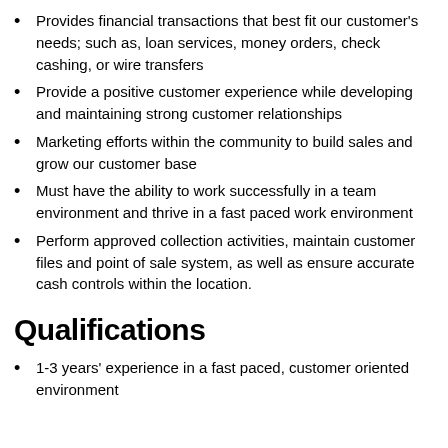Provides financial transactions that best fit our customer's needs; such as, loan services, money orders, check cashing, or wire transfers
Provide a positive customer experience while developing and maintaining strong customer relationships
Marketing efforts within the community to build sales and grow our customer base
Must have the ability to work successfully in a team environment and thrive in a fast paced work environment
Perform approved collection activities, maintain customer files and point of sale system, as well as ensure accurate cash controls within the location.
Qualifications
1-3 years' experience in a fast paced, customer oriented environment